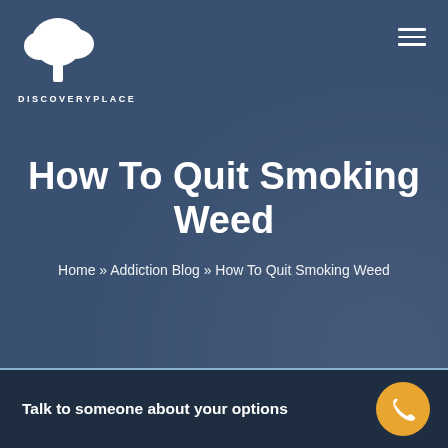[Figure (logo): Discovery Place logo: white tree icon above text DISCOVERYPLACE in white bold letters]
How To Quit Smoking Weed
Home » Addiction Blog » How To Quit Smoking Weed
Talk to someone about your options